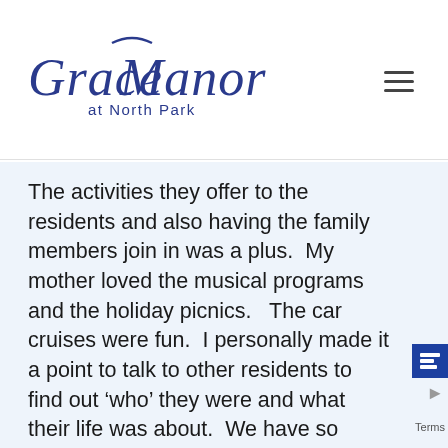Grace Manor at North Park
The activities they offer to the residents and also having the family members join in was a plus.  My mother loved the musical programs and the holiday picnics.   The car cruises were fun.  I personally made it a point to talk to other residents to find out 'who' they were and what their life was about.  We have so much to learn from other generations and how they made life easier for our generation.  I found them to be